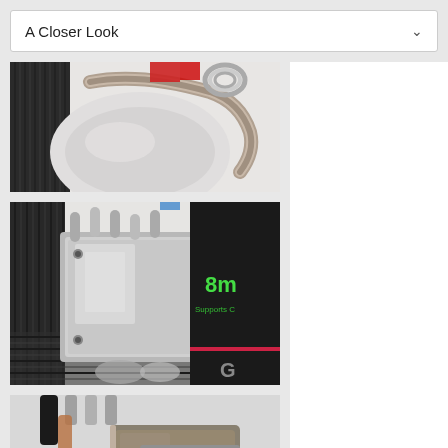A Closer Look
[Figure (photo): Close-up photo of a CPU cooler showing heat pipes with a red accent and chrome/metallic finish against a light background]
[Figure (photo): Close-up photo of a CPU cooler base plate showing polished metal contact surface with heat pipes and fins, next to a Gigabyte product box showing '8m' text]
[Figure (photo): Close-up photo of CPU cooler heat pipe contact base being held by hand, showing metallic copper-toned base plate]